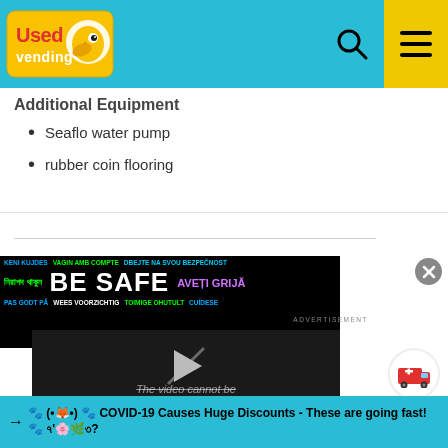[Figure (logo): UsedVending logo - yellow bird mascot with orange beak on teal background]
Additional Equipment
Seaflo water pump
rubber coin flooring
[Figure (infographic): BE SAFE multilingual safety advertisement banner on black background with colorful text in multiple languages]
[Figure (screenshot): Video player showing error: The video cannot be played in this browser. (Error Code: 242632)]
→ 🐾 (•🦊•) 🐾 COVID-19 Causes Huge Discounts - These are going fast! 🐾 ৭'🌸🌿৩?